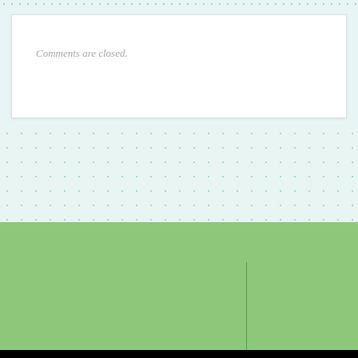Comments are closed.
© 2022 NOT YOUR TYPICAL DAY. ALL RIGHTS RESERVED.